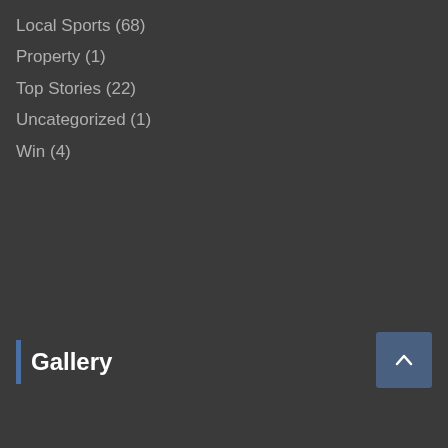Local Sports (68)
Property (1)
Top Stories (22)
Uncategorized (1)
Win (4)
Gallery
[Figure (other): Scroll-to-top button with upward chevron arrow, dark blue-grey rounded rectangle]